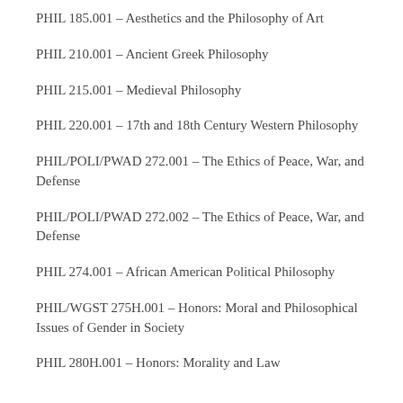PHIL 185.001 – Aesthetics and the Philosophy of Art
PHIL 210.001 – Ancient Greek Philosophy
PHIL 215.001 – Medieval Philosophy
PHIL 220.001 – 17th and 18th Century Western Philosophy
PHIL/POLI/PWAD 272.001 – The Ethics of Peace, War, and Defense
PHIL/POLI/PWAD 272.002 – The Ethics of Peace, War, and Defense
PHIL 274.001 – African American Political Philosophy
PHIL/WGST 275H.001 – Honors: Moral and Philosophical Issues of Gender in Society
PHIL 280H.001 – Honors: Morality and Law